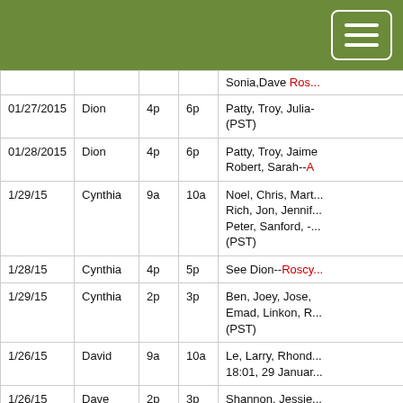| Date | Name | Start | End | Notes |
| --- | --- | --- | --- | --- |
|  |  |  |  | Sonia,Dave Rosc... |
| 01/27/2015 | Dion | 4p | 6p | Patty, Troy, Julia-... (PST) |
| 01/28/2015 | Dion | 4p | 6p | Patty, Troy, Jaime Robert, Sarah--A... |
| 1/29/15 | Cynthia | 9a | 10a | Noel, Chris, Mart... Rich, Jon, Jennif... Peter, Sanford, -... (PST) |
| 1/28/15 | Cynthia | 4p | 5p | See Dion--Roscy... |
| 1/29/15 | Cynthia | 2p | 3p | Ben, Joey, Jose, Emad, Linkon, R... (PST) |
| 1/26/15 | David | 9a | 10a | Le, Larry, Rhond... 18:01, 29 Januar... |
| 1/26/15 | Dave | 2p | 3p | Shannon, Jessie... Mcgdav31 (talk) |
|  |  |  |  | Cynthia entered... |